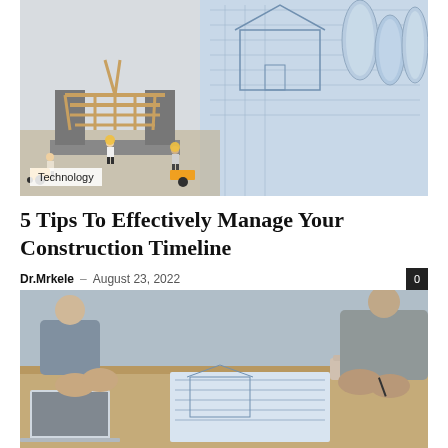[Figure (photo): Construction scene with a miniature house frame model being built by small figurine workers, next to rolled blueprint plans on a table. A 'Technology' label overlay is at the bottom left.]
5 Tips To Effectively Manage Your Construction Timeline
Dr.Mrkele – August 23, 2022   0
[Figure (photo): Two people sitting at a table reviewing construction blueprints/plans with a laptop and coffee cup visible.]